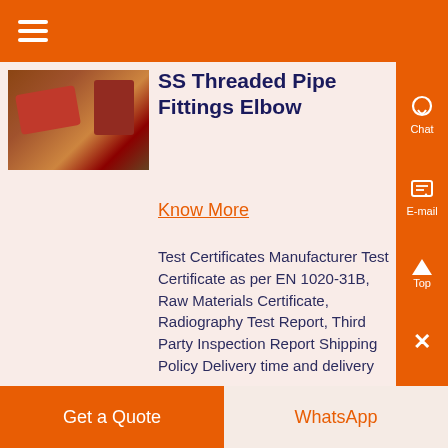≡
[Figure (photo): Photo of SS Threaded Pipe Fittings Elbow industrial scene with red/brown metal components]
SS Threaded Pipe Fittings Elbow
Know More
Test Certificates Manufacturer Test Certificate as per EN 1020-31B, Raw Materials Certificate, Radiography Test Report, Third Party Inspection Report Shipping Policy Delivery time and delivery dates are based on the type and quantity of order placed. O...
Get a Quote   WhatsApp